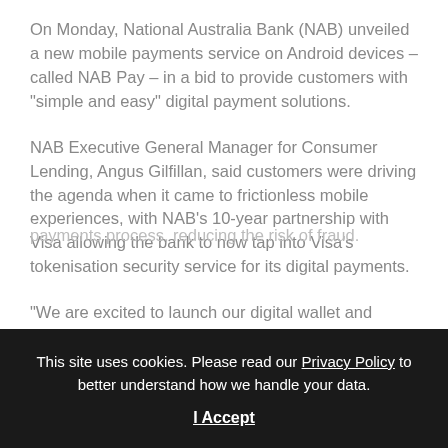On Monday, National Australia Bank (NAB) unveiled a new mobile payments service on Android devices – called NAB Pay – in a bid to provide customers with "simple and easy" digital payment solutions.
NAB Executive General Manager for Consumer Lending, Angus Gilfillan, said customers were driving the agenda when it came to frictionless mobile experiences, with NAB's 10-year partnership with Visa allowing the bank to now tap into Visa's tokenisation security service for its digital payments.
"We are excited to launch our digital wallet and enable customers to make fast and safe purchases
payments process, reducing the risk of fraud.
This site uses cookies. Please read our Privacy Policy to better understand how we handle your data.
I Accept